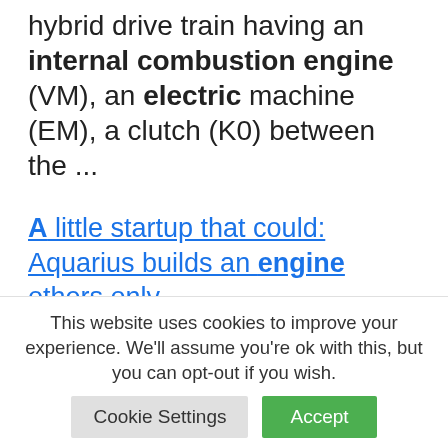hybrid drive train having an internal combustion engine (VM), an electric machine (EM), a clutch (K0) between the ...
A little startup that could: Aquarius builds an engine others only ...
13 Jul 2020 ... The four-stroke internal combustion engine was invented by Nicholas Otto in Germany 150 years ago. Several years later, two of his employees ...
This website uses cookies to improve your experience. We'll assume you're ok with this, but you can opt-out if you wish.